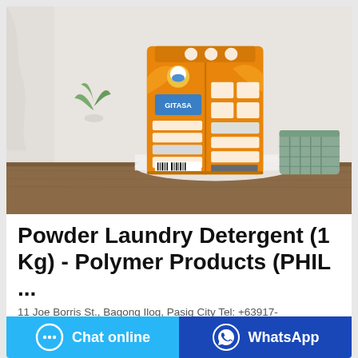[Figure (photo): Orange bag of powder laundry detergent (1 Kg) standing upright on a wooden surface, with a white cloth and green basket in the background.]
Powder Laundry Detergent (1 Kg) - Polymer Products (PHIL ...
11 Joe Borris St., Bagong Ilog, Pasig City Tel: +63917-